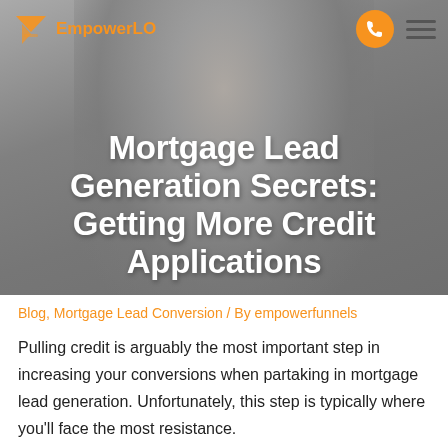[Figure (photo): Hero banner image of a smiling man in a suit holding fans of cash money, with a grey overlay background]
EmpowerLO logo with navigation bar including phone button and hamburger menu
Mortgage Lead Generation Secrets: Getting More Credit Applications
Blog, Mortgage Lead Conversion / By empowerfunnels
Pulling credit is arguably the most important step in increasing your conversions when partaking in mortgage lead generation. Unfortunately, this step is typically where you'll face the most resistance.
Usually, there will be hesitation centered around negative effects on their credit score. Others will argue